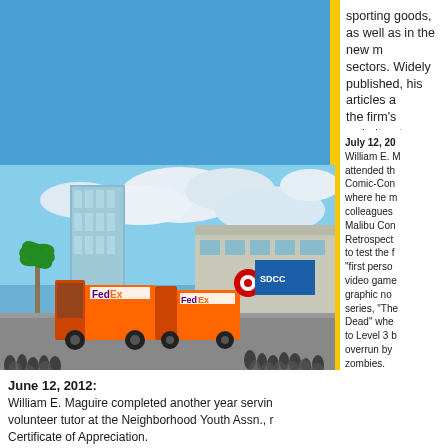sporting goods, as well as in the new media sectors. Widely published, his articles are on the firm's website at www.TMESQ.com
[Figure (photo): Street scene outside a convention center, likely Comic-Con in San Diego, with a FedEx truck and crowd of people visible, tall glass building in background]
July 12, 20[12]: William E. M[aguire] attended th[e] Comic-Con [San Diego] where he m[et] colleagues [from] Malibu Com[ics] Retrospect[ive] to test the f[irm's] 'first perso[n' video game] graphic no[vel] series, 'Th[e Walking] Dead' whe[re he got] to Level 3 b[efore being] overrun by zombies.
June 12, 2012:
William E. Maguire completed another year serving as volunteer tutor at the Neighborhood Youth Assn., r[eceiving a] Certificate of Appreciation.